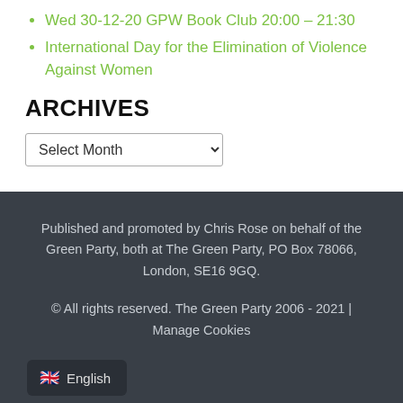Wed 30-12-20 GPW Book Club 20:00 – 21:30
International Day for the Elimination of Violence Against Women
ARCHIVES
Select Month
Published and promoted by Chris Rose on behalf of the Green Party, both at The Green Party, PO Box 78066, London, SE16 9GQ.
© All rights reserved. The Green Party 2006 - 2021 | Manage Cookies
🇬🇧 English